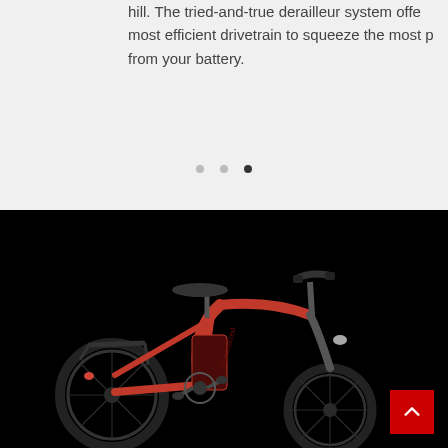hill. The tried-and-true derailleur system offe most efficient drivetrain to squeeze the most p from your battery.
[Figure (photo): Red electric city bicycle photographed against a black background, showing the full side profile with seat, handlebars, frame, wheels, and rear rack with a red tail light.]